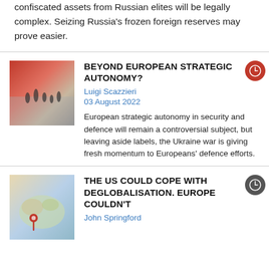confiscated assets from Russian elites will be legally complex. Seizing Russia's frozen foreign reserves may prove easier.
[Figure (photo): Abstract reddish artistic image with silhouettes of people]
BEYOND EUROPEAN STRATEGIC AUTONOMY?
Luigi Scazzieri
03 August 2022
European strategic autonomy in security and defence will remain a controversial subject, but leaving aside labels, the Ukraine war is giving fresh momentum to Europeans' defence efforts.
[Figure (photo): Map image with a red pin marker]
THE US COULD COPE WITH DEGLOBALISATION. EUROPE COULDN'T
John Springford